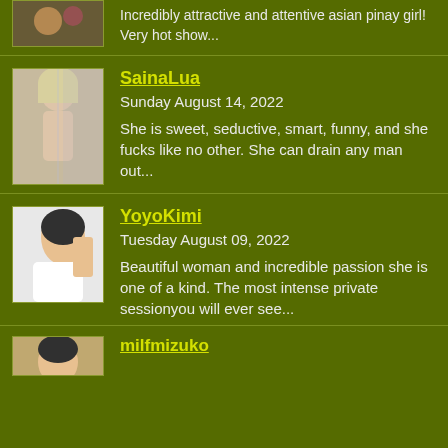Incredibly attractive and attentive asian pinay girl! Very hot show...
SainaLua
Sunday August 14, 2022
She is sweet, seductive, smart, funny, and she fucks like no other. She can drain any man out...
YoyoKimi
Tuesday August 09, 2022
Beautiful woman and incredible passion she is one of a kind. The most intense private sessionyou will ever see...
milfmizuko